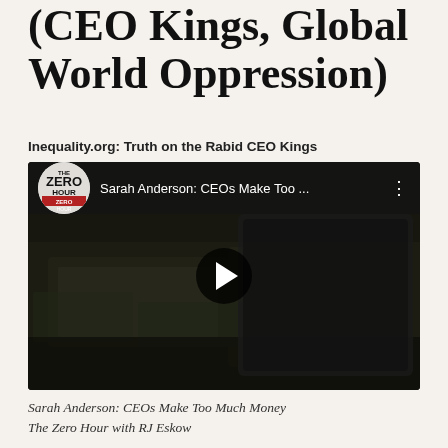(CEO Kings, Global World Oppression)
Inequality.org: Truth on the Rabid CEO Kings
[Figure (screenshot): YouTube video thumbnail showing 'The Zero Hour' logo and title 'Sarah Anderson: CEOs Make Too ...' with a play button overlaid on a background of stacked US dollar bills inside what appears to be a briefcase or safe.]
Sarah Anderson: CEOs Make Too Much Money
The Zero Hour with RJ Eskow